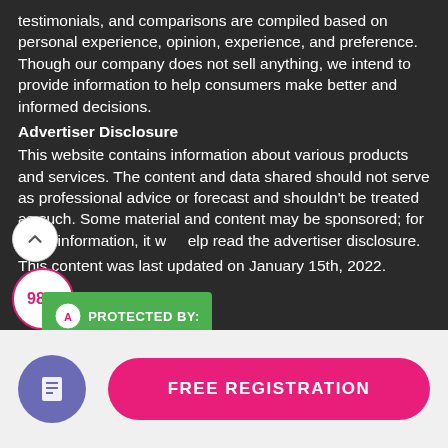testimonials, and comparisons are compiled based on personal experience, opinion, experience, and preference. Though our company does not sell anything, we intend to provide information to help consumers make better and informed decisions.
Advertiser Disclosure
This website contains information about various products and services. The content and data shared should not serve as professional advice or forecast and shouldn't be treated as such. Some material and content may be sponsored; for more information, it will help read the advertiser disclosure.
This content was last updated on January 15th, 2022.
[Figure (other): 98% badge circle with red border and DMCA Protected By green badge]
[Figure (other): Free Registration button with purple icon circle and pink pill button]
FREE REGISTRATION